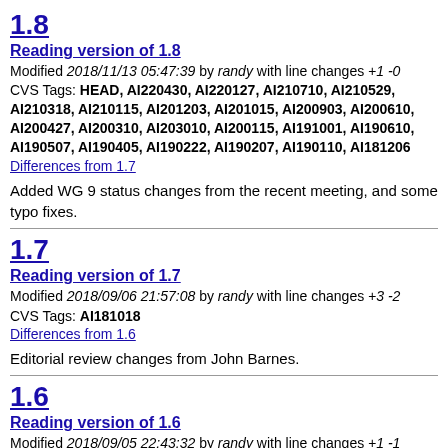1.8
Reading version of 1.8
Modified 2018/11/13 05:47:39 by randy with line changes +1 -0 CVS Tags: HEAD, AI220430, AI220127, AI210710, AI210529, AI210318, AI210115, AI201203, AI201015, AI200903, AI200610, AI200427, AI200310, AI203010, AI200115, AI191001, AI190610, AI190507, AI190405, AI190222, AI190207, AI190110, AI181206
Differences from 1.7
Added WG 9 status changes from the recent meeting, and some typo fixes.
1.7
Reading version of 1.7
Modified 2018/09/06 21:57:08 by randy with line changes +3 -2 CVS Tags: AI181018
Differences from 1.6
Editorial review changes from John Barnes.
1.6
Reading version of 1.6
Modified 2018/09/05 22:43:32 by randy with line changes +1 -1